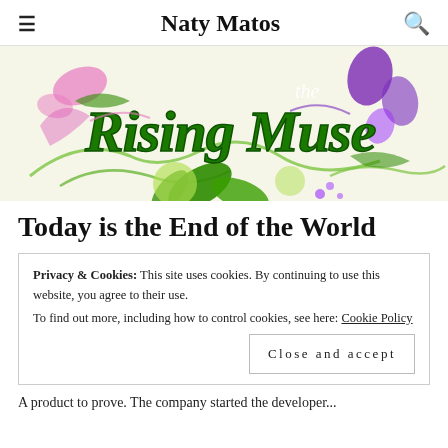Naty Matos
[Figure (logo): The Rising Muse logo with decorative green script lettering, pink and purple floral swirl ornaments on a light beige background]
Today is the End of the World
Privacy & Cookies: This site uses cookies. By continuing to use this website, you agree to their use.
To find out more, including how to control cookies, see here: Cookie Policy
Close and accept
A product to prove. The company started the developer...